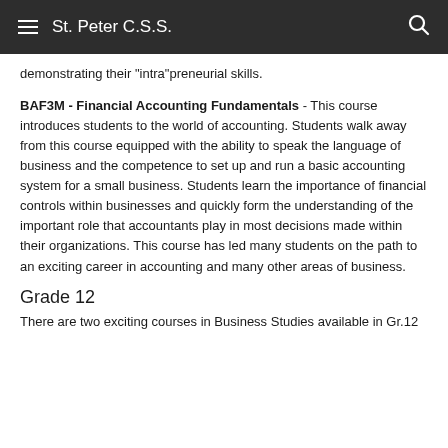St. Peter C.S.S.
demonstrating their "intra"preneurial skills.
BAF3M - Financial Accounting Fundamentals - This course introduces students to the world of accounting. Students walk away from this course equipped with the ability to speak the language of business and the competence to set up and run a basic accounting system for a small business. Students learn the importance of financial controls within businesses and quickly form the understanding of the important role that accountants play in most decisions made within their organizations. This course has led many students on the path to an exciting career in accounting and many other areas of business.
Grade 12
There are two exciting courses in Business Studies available in Gr.12